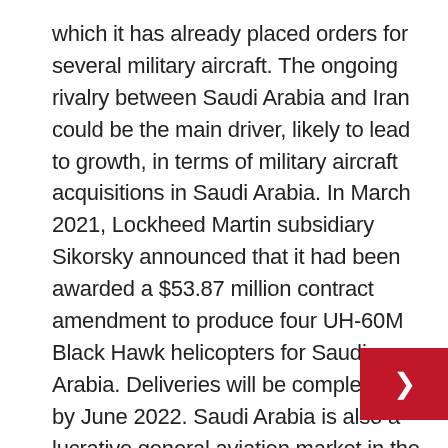which it has already placed orders for several military aircraft. The ongoing rivalry between Saudi Arabia and Iran could be the main driver, likely to lead to growth, in terms of military aircraft acquisitions in Saudi Arabia. In March 2021, Lockheed Martin subsidiary Sikorsky announced that it had been awarded a $53.87 million contract amendment to produce four UH-60M Black Hawk helicopters for Saudi Arabia. Deliveries will be completed by June 2022. Saudi Arabia is also a lucrative general aviation market in the Middle East region. The only business jet delivered to the Middle East region in 2020 was delivered to a customer in Saudi Arabia. Furthermore, the country's high wealth is also expected to boost general aviation market in the country during the forecast period.